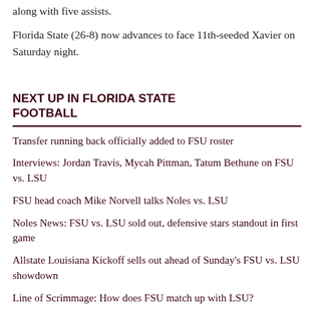along with five assists.
Florida State (26-8) now advances to face 11th-seeded Xavier on Saturday night.
NEXT UP IN FLORIDA STATE FOOTBALL
Transfer running back officially added to FSU roster
Interviews: Jordan Travis, Mycah Pittman, Tatum Bethune on FSU vs. LSU
FSU head coach Mike Norvell talks Noles vs. LSU
Noles News: FSU vs. LSU sold out, defensive stars standout in first game
Allstate Louisiana Kickoff sells out ahead of Sunday's FSU vs. LSU showdown
Line of Scrimmage: How does FSU match up with LSU?